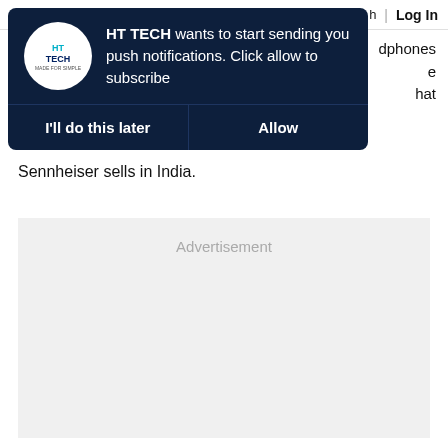h | Log In
dphones
e
hat
[Figure (screenshot): HT TECH push notification popup with dark navy background. Logo circle on left showing HT TECH branding. Message text: 'HT TECH wants to start sending you push notifications. Click allow to subscribe'. Two buttons at bottom: 'I'll do this later' and 'Allow'.]
Sennheiser sells in India.
Advertisement